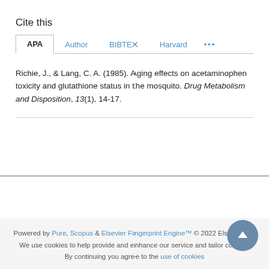Cite this
APA  Author  BIBTEX  Harvard  ...
Richie, J., & Lang, C. A. (1985). Aging effects on acetaminophen toxicity and glutathione status in the mosquito. Drug Metabolism and Disposition, 13(1), 14-17.
Powered by Pure, Scopus & Elsevier Fingerprint Engine™ © 2022 Elsevier B.V
We use cookies to help provide and enhance our service and tailor content. By continuing you agree to the use of cookies